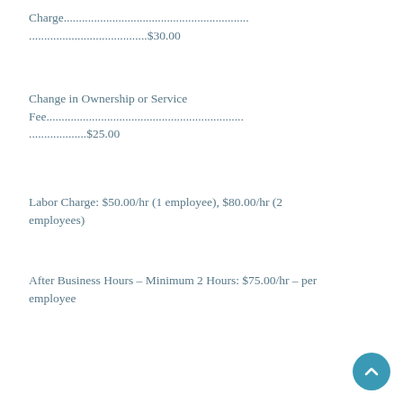Charge................................................................$30.00
Change in Ownership or Service Fee................................................................$25.00
Labor Charge: $50.00/hr (1 employee), $80.00/hr (2 employees)
After Business Hours – Minimum 2 Hours: $75.00/hr – per employee